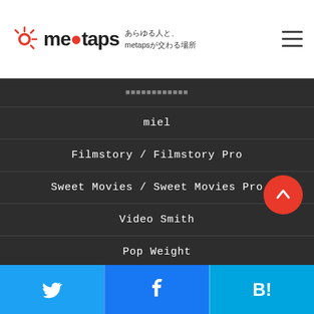[Figure (logo): meetaps logo with sunburst icon and Japanese tagline: あらゆる人と、metapsが交わる場所]
（文字化け）サービス一覧
miel
Filmstory / Filmstory Pro
Sweet Movies / Sweet Movies Pro
Video Smith
Pop Weight
（文字化け）関連リンク
[Figure (infographic): Three social share buttons: Twitter (blue bird), Facebook (blue f), Hatena Bookmark (blue B!)]